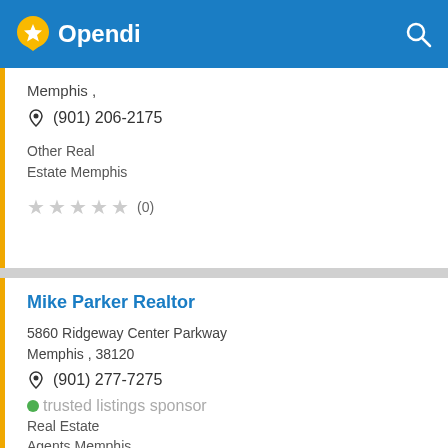Opendi
Memphis ,
(901) 206-2175
Other Real Estate Memphis
(0)
Mike Parker Realtor
5860 Ridgeway Center Parkway Memphis , 38120
(901) 277-7275
Real Estate Agents Memphis
(0)